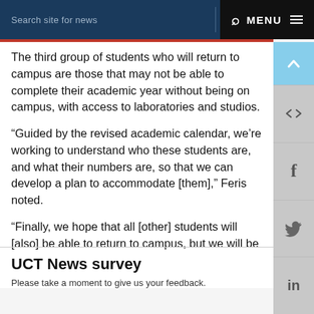Search site for news  MENU
The third group of students who will return to campus are those that may not be able to complete their academic year without being on campus, with access to laboratories and studios.
“Guided by the revised academic calendar, we’re working to understand who these students are, and what their numbers are, so that we can develop a plan to accommodate [them],” Feris noted.
“Finally, we hope that all [other] students will [also] be able to return to campus, but we will be guided by the national directives in this regard.”
UCT News survey
Please take a moment to give us your feedback.